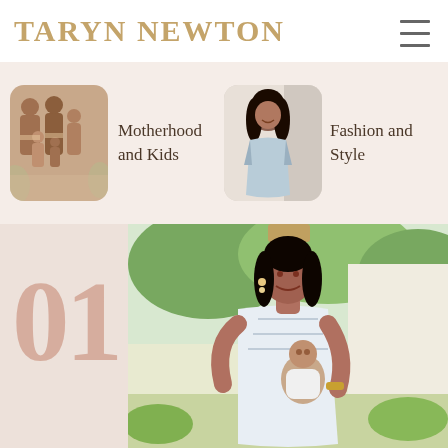TARYN NEWTON
[Figure (photo): Thumbnail photo of a family group including adults and children in coordinated outfits]
Motherhood and Kids
[Figure (photo): Thumbnail photo of a woman in a light blue dress posing outdoors]
Fashion and Style
[Figure (photo): Large photo of a smiling woman holding a baby outdoors near a lamp post and house, with greenery in background. Large decorative number '01' overlaid on the left side.]